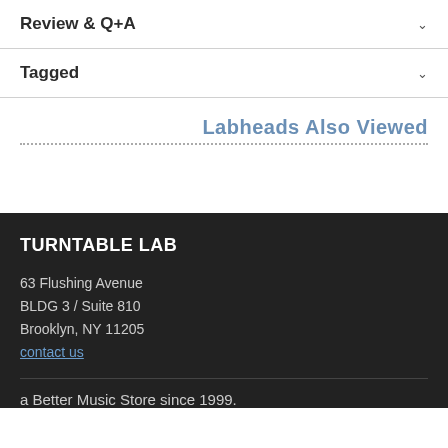Review & Q+A
Tagged
Labheads Also Viewed
TURNTABLE LAB
63 Flushing Avenue
BLDG 3 / Suite 810
Brooklyn, NY 11205
contact us
a Better Music Store since 1999.